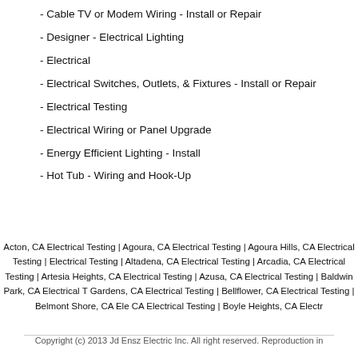- Cable TV or Modem Wiring - Install or Repair
- Designer - Electrical Lighting
- Electrical
- Electrical Switches, Outlets, & Fixtures - Install or Repair
- Electrical Testing
- Electrical Wiring or Panel Upgrade
- Energy Efficient Lighting - Install
- Hot Tub - Wiring and Hook-Up
Acton, CA Electrical Testing | Agoura, CA Electrical Testing | Agoura Hills, CA Electrical Testing | Altadena, CA Electrical Testing | Arcadia, CA Electrical Testing | Artesia Heights, CA Electrical Testing | Azusa, CA Electrical Testing | Baldwin Park, CA Electrical Testing | Gardens, CA Electrical Testing | Bellflower, CA Electrical Testing | Belmont Shore, CA Electrical Testing | CA Electrical Testing | Boyle Heights, CA Electrical Testing
Copyright (c) 2013 Jd Ensz Electric Inc. All right reserved. Reproduction in